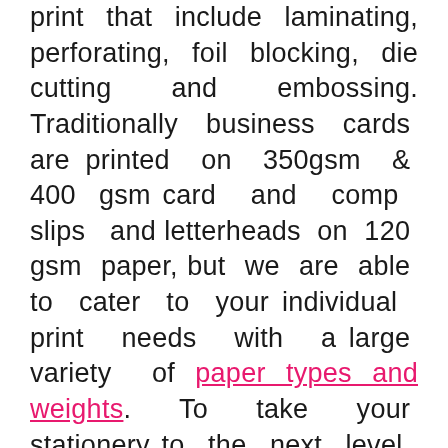print that include laminating, perforating, foil blocking, die cutting and embossing. Traditionally business cards are printed on 350gsm & 400 gsm card and comp slips and letterheads on 120 gsm paper, but we are able to cater to your individual print needs with a large variety of paper types and weights. To take your stationery to the next level, we can white ink print, foil and emboss and there's always an option to laminate anything over 160 gsm in matt, matt soft touch, gloss and matt antibacterial finish. If you need a quote or you'd like to submit and order just click here use the link on the top